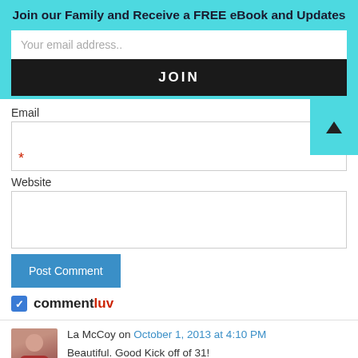Join our Family and Receive a FREE eBook and Updates
Your email address..
JOIN
Email
Website
Post Comment
commentluv
La McCoy on October 1, 2013 at 4:10 PM
Beautiful. Good Kick off of 31!